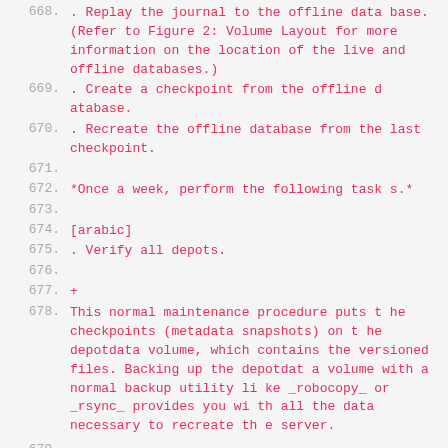668. . Replay the journal to the offline database. (Refer to Figure 2: Volume Layout for more information on the location of the live and offline databases.)
669. . Create a checkpoint from the offline database.
670. . Recreate the offline database from the last checkpoint.
671. (empty)
672. *Once a week, perform the following tasks.*
673. (empty)
674. [arabic]
675. . Verify all depots.
676. (empty)
677. +
678. This normal maintenance procedure puts the checkpoints (metadata snapshots) on the depotdata volume, which contains the versioned files. Backing up the depotdata volume with a normal backup utility like _robocopy_ or _rsync_ provides you with all the data necessary to recreate the server.
679. (empty)